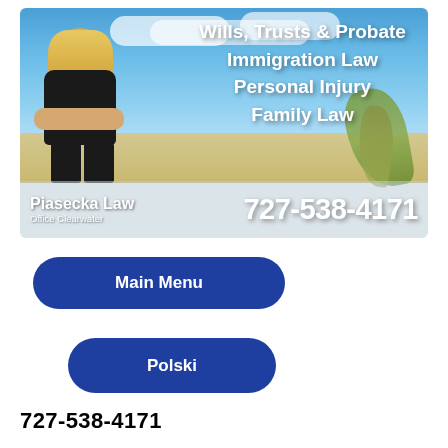[Figure (photo): Law firm advertisement banner showing a blonde woman attorney in a black outfit with arms crossed standing on a beach with blue sky background. Text overlaid: 'Wills, Trusts & Probate', 'Immigration Law', 'Personal Injury', 'Family Law'. Bottom strip shows 'Piasecka Law Office Clearwater' on the left and phone number '727-538-4171' on the right.]
Main Menu
Polski
727-538-4171